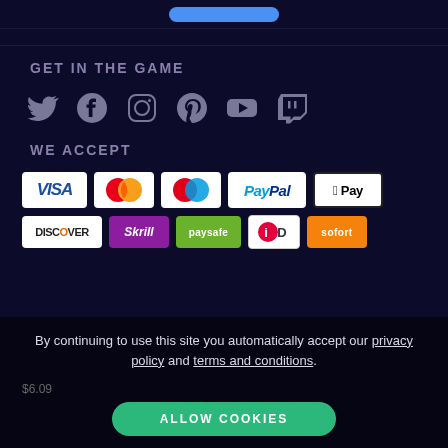[Figure (other): Top blue rounded button/bar partially visible at top]
GET IN THE GAME
[Figure (other): Social media icons row: Twitter, Facebook, Instagram, Pinterest, YouTube, Twitch]
WE ACCEPT
[Figure (other): Payment method logos row 1: VISA, Mastercard, Maestro, PayPal, Apple Pay]
[Figure (other): Payment method logos row 2: Discover, Skrill, paysafe, iD, and orange badge]
By continuing to use this site you automatically accept our privacy policy and terms and conditions.
ALLOW COOKIES